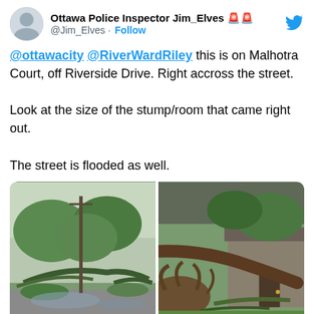Ottawa Police Inspector Jim_Elves @Jim_Elves · Follow
@ottawacity @RiverWardRiley this is on Malhotra Court, off Riverside Drive. Right accross the street.

Look at the size of the stump/room that came right out.

The street is flooded as well.
[Figure (photo): Two side-by-side photos showing storm damage: left photo shows fallen trees and debris on a flooded street with a utility pole; right photo shows a large uprooted tree fallen against a house with exposed roots.]